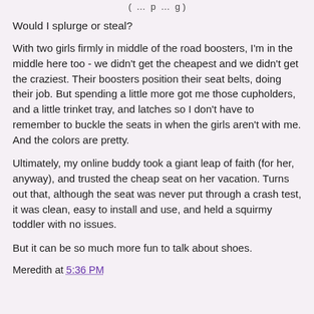( ... p ... g )
Would I splurge or steal?
With two girls firmly in middle of the road boosters, I'm in the middle here too - we didn't get the cheapest and we didn't get the craziest. Their boosters position their seat belts, doing their job. But spending a little more got me those cupholders, and a little trinket tray, and latches so I don't have to remember to buckle the seats in when the girls aren't with me. And the colors are pretty.
Ultimately, my online buddy took a giant leap of faith (for her, anyway), and trusted the cheap seat on her vacation. Turns out that, although the seat was never put through a crash test, it was clean, easy to install and use, and held a squirmy toddler with no issues.
But it can be so much more fun to talk about shoes.
Meredith at 5:36 PM